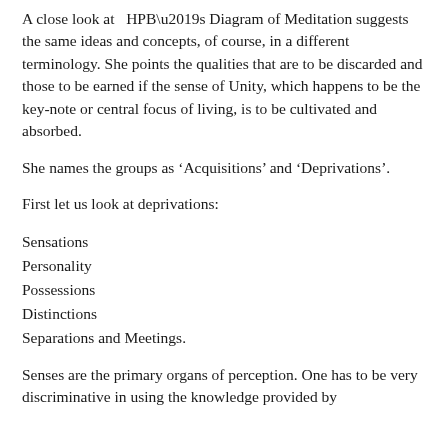A close look at   HPB’s Diagram of Meditation suggests the same ideas and concepts, of course, in a different terminology. She points the qualities that are to be discarded and those to be earned if the sense of Unity, which happens to be the key-note or central focus of living, is to be cultivated and absorbed.
She names the groups as ‘Acquisitions’ and ‘Deprivations’.
First let us look at deprivations:
Sensations
Personality
Possessions
Distinctions
Separations and Meetings.
Senses are the primary organs of perception. One has to be very discriminative in using the knowledge provided by